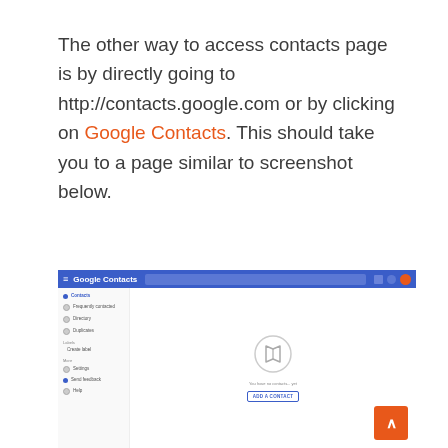The other way to access contacts page is by directly going to http://contacts.google.com or by clicking on Google Contacts. This should take you to a page similar to screenshot below.
[Figure (screenshot): Screenshot of the Google Contacts web interface showing the contacts page with a sidebar navigation (Contacts, Frequently contacted, Directory, Duplicates, Labels, Create label, More, Settings, Send feedback, Help) and a main area with an empty contacts state showing a book icon and an ADD A CONTACT button.]